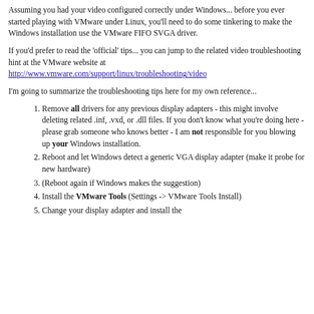Assuming you had your video configured correctly under Windows... before you ever started playing with VMware under Linux, you'll need to do some tinkering to make the Windows installation use the VMware FIFO SVGA driver.
If you'd prefer to read the 'official' tips... you can jump to the related video troubleshooting hint at the VMware website at http://www.vmware.com/support/linux/troubleshooting/video
I'm going to summarize the troubleshooting tips here for my own reference...
Remove all drivers for any previous display adapters - this might involve deleting related .inf, .vxd, or .dll files. If you don't know what you're doing here - please grab someone who knows better - I am not responsible for you blowing up your Windows installation.
Reboot and let Windows detect a generic VGA display adapter (make it probe for new hardware)
(Reboot again if Windows makes the suggestion)
Install the VMware Tools (Settings -> VMware Tools Install)
Change your display adapter and install the